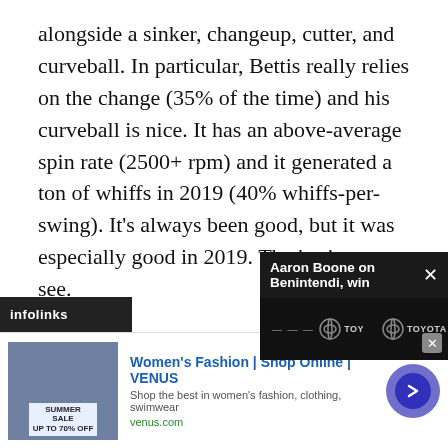alongside a sinker, changeup, cutter, and curveball. In particular, Bettis really relies on the change (35% of the time) and his curveball is nice. It has an above-average spin rate (2500+ rpm) and it generated a ton of whiffs in 2019 (40% whiffs-per-swing). It's always been good, but it was especially good in 2019. That's nice to see.
We can now add Bettis to the list of potential candidates for a fifth starter now, and if not, potentially as a back-end reliever. The more... said, it's easy to root f...
[Figure (screenshot): Popup overlay bar showing 'Aaron Boone on Benintendi, win' with a close button X, overlaid on a Yankees/Toyota banner with team logos. Below is an infolinks bar and a Women's Fashion VENUS advertisement.]